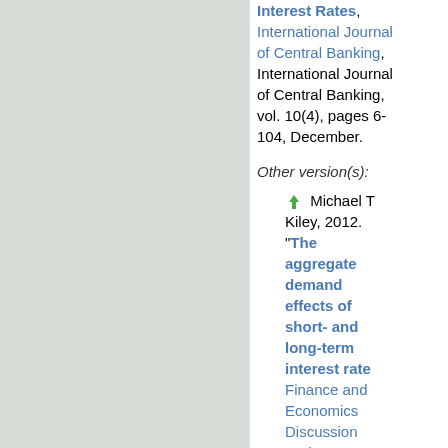Interest Rates, International Journal of Central Banking, International Journal of Central Banking, vol. 10(4), pages 6-104, December.
Other version(s):
Michael T. Kiley, 2012. "The aggregate demand effects of short- and long-term interest rate Finance and Economics Discussion Series 2012-54, Board of Governors of the Federal Reserve System (US)
Top of page